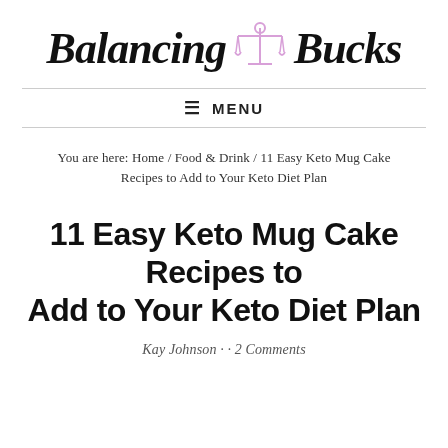[Figure (logo): Balancing Bucks logo with a pink scales of justice icon between 'Balancing' and 'Bucks' in cursive script]
MENU
You are here: Home / Food & Drink / 11 Easy Keto Mug Cake Recipes to Add to Your Keto Diet Plan
11 Easy Keto Mug Cake Recipes to Add to Your Keto Diet Plan
Kay Johnson · · 2 Comments